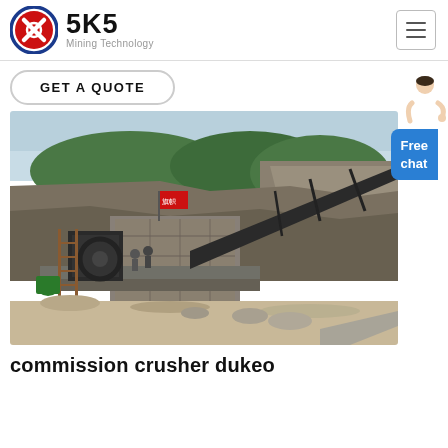[Figure (logo): SKS Mining Technology logo with red circle emblem and company name]
GET A QUOTE
[Figure (photo): Mining quarry site with crusher equipment, conveyor belt, red flag, and rocky mountain backdrop]
commission crusher dukeo